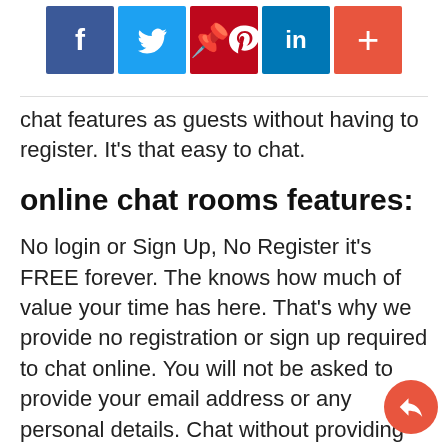[Figure (other): Social sharing buttons bar: Facebook (blue), Twitter (light blue), Pinterest (dark red), LinkedIn (blue), Plus/more (orange-red)]
chat features as guests without having to register. It's that easy to chat.
online chat rooms features:
No login or Sign Up, No Register it's FREE forever. The knows how much of value your time has here. That's why we provide no registration or sign up required to chat online. You will not be asked to provide your email address or any personal details. Chat without providing email or any personal data. A click is enough to enter into a chat with random strangers. You are not required to register an account to chat online because it provides guest chat features. Chatting could have never been this easy. Just click is